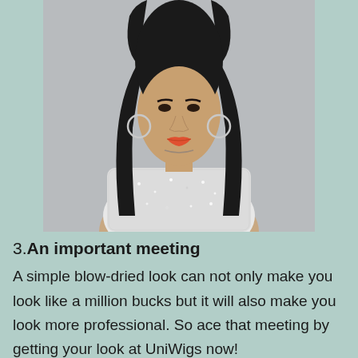[Figure (photo): A young woman with long straight black hair wearing large silver hoop earrings and a white/silver sequin top, photographed against a light grey background. The image is cropped to show from the top of her head to her waist.]
3. An important meeting A simple blow-dried look can not only make you look like a million bucks but it will also make you look more professional. So ace that meeting by getting your look at UniWigs now!